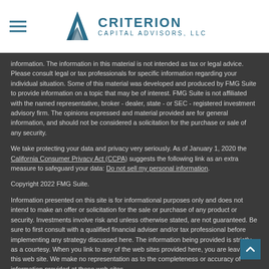Criterion Capital Advisors, LLC
information. The information in this material is not intended as tax or legal advice. Please consult legal or tax professionals for specific information regarding your individual situation. Some of this material was developed and produced by FMG Suite to provide information on a topic that may be of interest. FMG Suite is not affiliated with the named representative, broker - dealer, state - or SEC - registered investment advisory firm. The opinions expressed and material provided are for general information, and should not be considered a solicitation for the purchase or sale of any security.
We take protecting your data and privacy very seriously. As of January 1, 2020 the California Consumer Privacy Act (CCPA) suggests the following link as an extra measure to safeguard your data: Do not sell my personal information.
Copyright 2022 FMG Suite.
Information presented on this site is for informational purposes only and does not intend to make an offer or solicitation for the sale or purchase of any product or security. Investments involve risk and unless otherwise stated, are not guaranteed. Be sure to first consult with a qualified financial adviser and/or tax professional before implementing any strategy discussed here. The information being provided is strictly as a courtesy. When you link to any of the web sites provided here, you are leaving this web site. We make no representation as to the completeness or accuracy of information provided at these web sites.